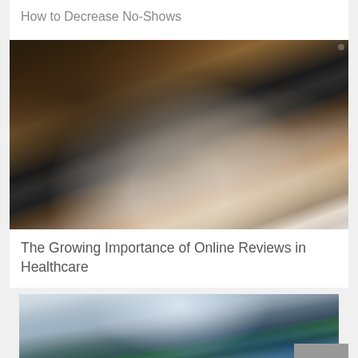How to Decrease No-Shows
[Figure (photo): Person's hands typing on a laptop on a wooden table, wearing a watch, dark background]
The Growing Importance of Online Reviews in Healthcare
[Figure (photo): Operating room with surgeons in scrubs and surgical caps, medical equipment and monitors visible, bright overhead surgical lights]